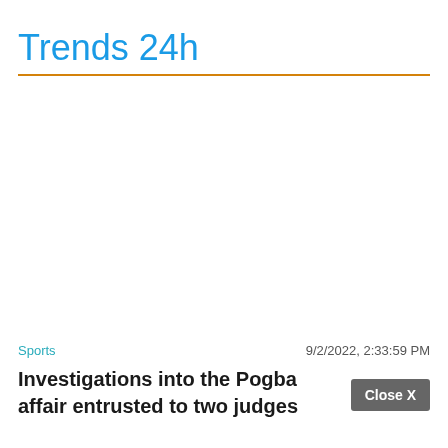Trends 24h
Sports   9/2/2022, 2:33:59 PM
Investigations into the Pogba affair entrusted to two judges